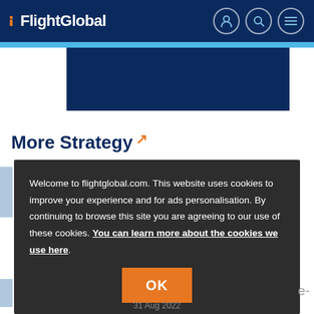FlightGlobal
[Figure (screenshot): Dark blue advertisement banner block]
More Strategy
Welcome to flightglobal.com. This website uses cookies to improve your experience and for ads personalisation. By continuing to browse this site you are agreeing to our use of these cookies. You can learn more about the cookies we use here.
OK
31 Aug 2022